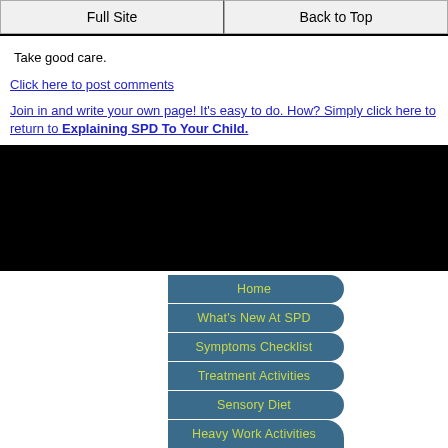Full Site | Back to Top
Take good care.
Click here to post comments
Join in and write your own page! It's easy to do. How? Simply click here to return to Explaining SPD To Your Child.
[Figure (infographic): Navigation menu with teal rounded-right buttons listing: Home, What's New At SPD, Symptoms Checklist, Treatment Activities, Sensory Diet, Heavy Work Activities]